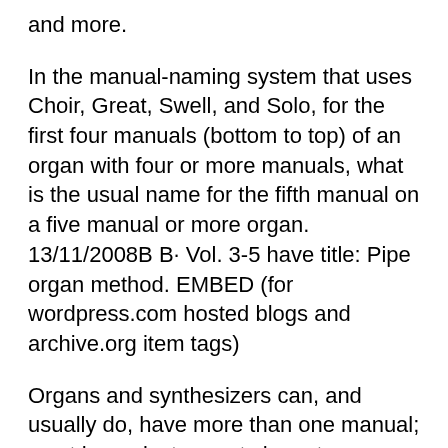and more.
In the manual-naming system that uses Choir, Great, Swell, and Solo, for the first four manuals (bottom to top) of an organ with four or more manuals, what is the usual name for the fifth manual on a five manual or more organ. 13/11/2008B B· Vol. 3-5 have title: Pipe organ method. EMBED (for wordpress.com hosted blogs and archive.org item tags)
Organs and synthesizers can, and usually do, have more than one manual; most home instruments have two manuals, while most larger organs have two or three. Elaborate pipe organs and